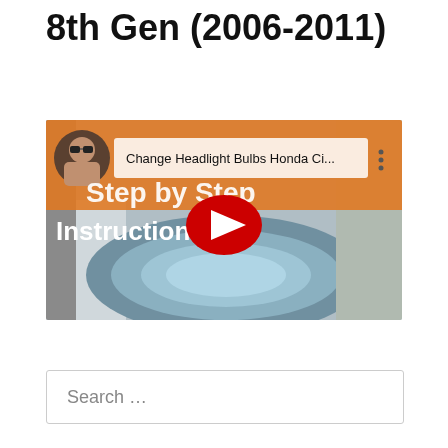8th Gen (2006-2011)
[Figure (screenshot): YouTube video thumbnail showing a man with sunglasses, overlaid text 'Step by Step Instructions!' on an orange banner, with a YouTube play button in the center. Video title reads 'Change Headlight Bulbs Honda Ci...' Background shows a Honda Civic headlight.]
Search …